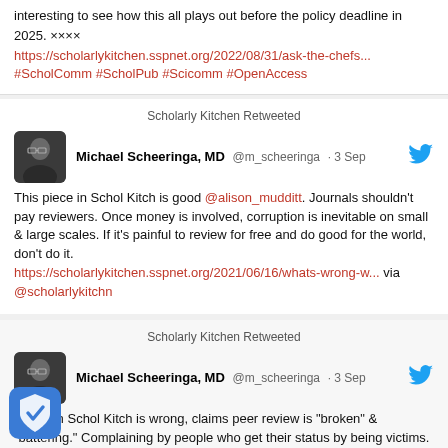interesting to see how this all plays out before the policy deadline in 2025. ×××× https://scholarlykitchen.sspnet.org/2022/08/31/ask-the-chefs... #ScholComm #ScholPub #Scicomm #OpenAccess
Scholarly Kitchen Retweeted
Michael Scheeringa, MD @m_scheeringa · 3 Sep
This piece in Schol Kitch is good @alison_mudditt. Journals shouldn't pay reviewers. Once money is involved, corruption is inevitable on small & large scales. If it's painful to review for free and do good for the world, don't do it. https://scholarlykitchen.sspnet.org/2021/06/16/whats-wrong-w... via @scholarlykitchn
Scholarly Kitchen Retweeted
Michael Scheeringa, MD @m_scheeringa · 3 Sep
Article in Schol Kitch is wrong, claims peer review is "broken" & "battering." Complaining by people who get their status by being victims. Peer review isn't broken. Writing is hard. Feedback can suck. Get over it fragile authors.